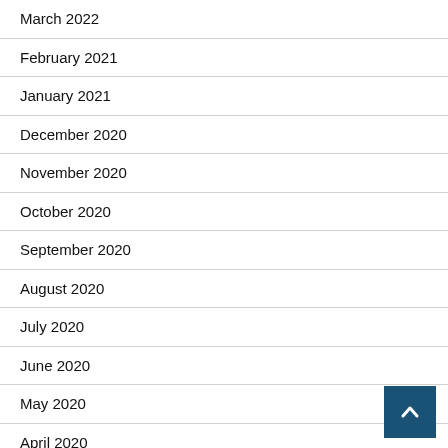March 2022
February 2021
January 2021
December 2020
November 2020
October 2020
September 2020
August 2020
July 2020
June 2020
May 2020
April 2020
March 2020